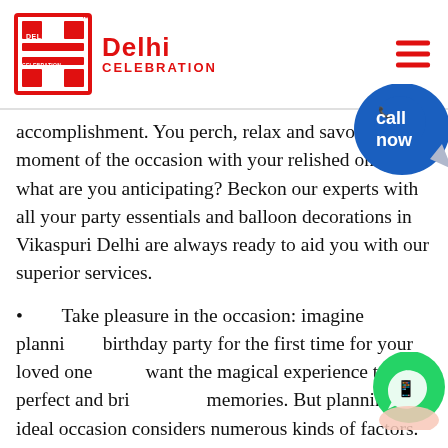Delhi Celebration
accomplishment. You perch, relax and savor every moment of the occasion with your relished ones. So what are you anticipating? Beckon our experts with all your party essentials and balloon decorations in Vikaspuri Delhi are always ready to aid you with our superior services.
Take pleasure in the occasion: imagine planning a birthday party for the first time for your loved ones. You want the magical experience to be perfect and bring happy memories. But planning an ideal occasion considers numerous kinds of factors. If you are planning the party for the first time, you may be a little overwhelmed with all the little things that should go into preparing for the perfect event. It includes many things like the color combination, themed cakes, fun games, catering requirements, return gifts and much more. Our professional party organisers